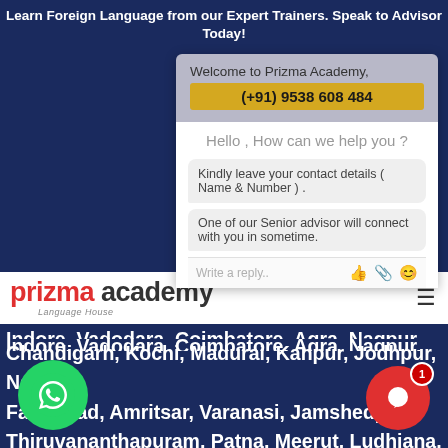Learn Foreign Language from our Expert Trainers. Speak to Advisor Today!
[Figure (screenshot): Chat widget overlay showing Welcome to Prizma Academy with phone number (+91) 9538 608 484, greeting Hello, How can we help you?, chat bubbles with Kindly leave your contact details (Name & Number). and One of our Senior advisor will connect with you in sometime., and a reply input bar]
[Figure (logo): Prizma Academy Language House logo in red and dark text with hamburger menu icon]
Indore, Vadodara, Coimbatore, Agra, Nagpur, Bhopal, Chandigarh, Kochi, Madurai, Kanpur, Jodhpur, Nashik, Faridabad, Amritsar, Varanasi, Jamshedpur, Thiruvananthapuram, Patna, Meerut, Ludhiana, Dehradun, Aurangabad, Rajkot, Guwahati, Navi Mumbai, Raipur, Jabalpur, Bhubaneswar, Noida, Vijaywada, Ghaziabad, Ranchi, Gwalior, Kota, Mangaluru, Gurugram, New Delhi